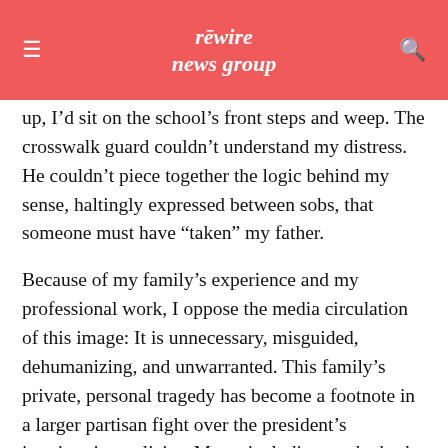rewire news group
up, I'd sit on the school's front steps and weep. The crosswalk guard couldn't understand my distress. He couldn't piece together the logic behind my sense, haltingly expressed between sobs, that someone must have “taken” my father.
Because of my family’s experience and my professional work, I oppose the media circulation of this image: It is unnecessary, misguided, dehumanizing, and unwarranted. This family’s private, personal tragedy has become a footnote in a larger partisan fight over the president’s immigration policies. Many, including no doubt the editors of the AP and the New York Times, will argue that there is a larger public interest: This “iconic image,” they will say, has the power to stir the public,